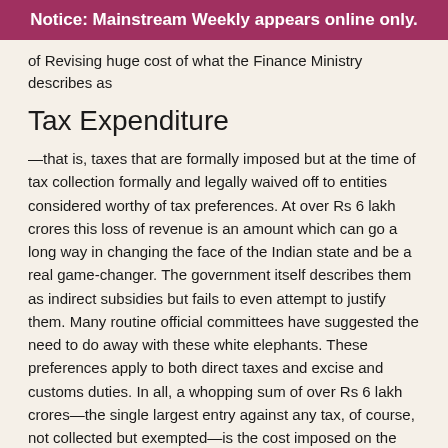Notice: Mainstream Weekly appears online only.
of Revising huge cost of what the Finance Ministry describes as
Tax Expenditure
—that is, taxes that are formally imposed but at the time of tax collection formally and legally waived off to entities considered worthy of tax preferences. At over Rs 6 lakh crores this loss of revenue is an amount which can go a long way in changing the face of the Indian state and be a real game-changer. The government itself describes them as indirect subsidies but fails to even attempt to justify them. Many routine official committees have suggested the need to do away with these white elephants. These preferences apply to both direct taxes and excise and customs duties. In all, a whopping sum of over Rs 6 lakh crores—the single largest entry against any tax, of course, not collected but exempted—is the cost imposed on the nation by this largesse bestowed on the wealthiest and most anti-poor